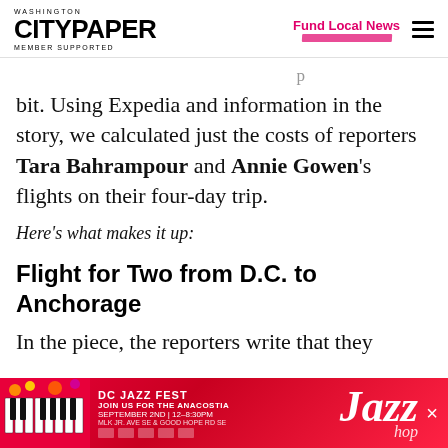Washington City Paper — Member Supported | Fund Local News
bit. Using Expedia and information in the story, we calculated just the costs of reporters Tara Bahrampour and Annie Gowen's flights on their four-day trip.
Here's what makes it up:
Flight for Two from D.C. to Anchorage
In the piece, the reporters write that they
[Figure (other): DC Jazz Fest advertisement banner in red with piano keys, jazz lettering, and event details: September 2nd, 12-8:30pm, MLK Jr Ave SE & Good Hope Rd SE]